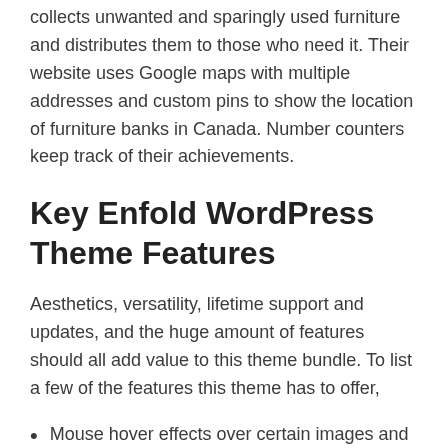collects unwanted and sparingly used furniture and distributes them to those who need it. Their website uses Google maps with multiple addresses and custom pins to show the location of furniture banks in Canada. Number counters keep track of their achievements.
Key Enfold WordPress Theme Features
Aesthetics, versatility, lifetime support and updates, and the huge amount of features should all add value to this theme bundle. To list a few of the features this theme has to offer,
Mouse hover effects over certain images and links